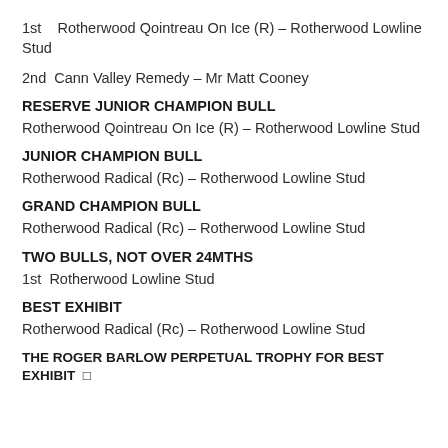1st   Rotherwood Qointreau On Ice (R) – Rotherwood Lowline Stud
2nd  Cann Valley Remedy – Mr Matt Cooney
RESERVE JUNIOR CHAMPION BULL
Rotherwood Qointreau On Ice (R) – Rotherwood Lowline Stud
JUNIOR CHAMPION BULL
Rotherwood Radical (Rc) – Rotherwood Lowline Stud
GRAND CHAMPION BULL
Rotherwood Radical (Rc) – Rotherwood Lowline Stud
TWO BULLS, NOT OVER 24MTHS
1st  Rotherwood Lowline Stud
BEST EXHIBIT
Rotherwood Radical (Rc) – Rotherwood Lowline Stud
THE ROGER BARLOW PERPETUAL TROPHY FOR BEST EXHIBIT